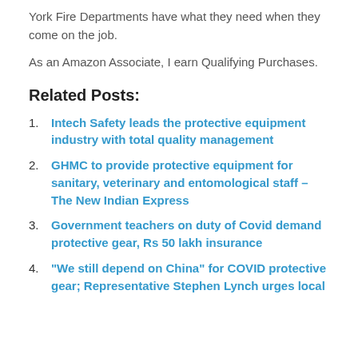York Fire Departments have what they need when they come on the job.
As an Amazon Associate, I earn Qualifying Purchases.
Related Posts:
Intech Safety leads the protective equipment industry with total quality management
GHMC to provide protective equipment for sanitary, veterinary and entomological staff – The New Indian Express
Government teachers on duty of Covid demand protective gear, Rs 50 lakh insurance
“We still depend on China” for COVID protective gear; Representative Stephen Lynch urges local